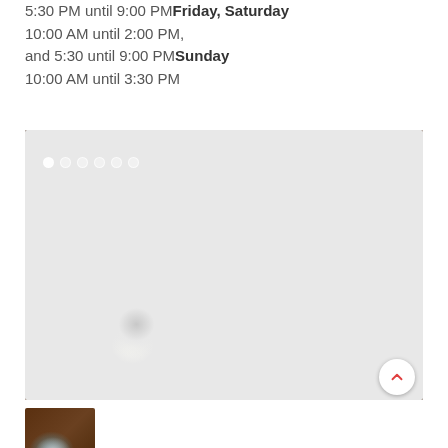5:30 PM until 9:00 PMFriday, Saturday
10:00 AM until 2:00 PM,
and 5:30 until 9:00 PMSunday
10:00 AM until 3:30 PM
[Figure (photo): Overhead view of restaurant food dishes including a teal cast iron pan with a fried egg on top of roasted vegetables, a red Dutch oven with braised meat, a silver tray with a pot pie, and a floral plate with mushroom pasta. Carousel navigation dots visible in upper left.]
[Figure (photo): Thumbnail image of the same food dishes, smaller version of the main photo above.]